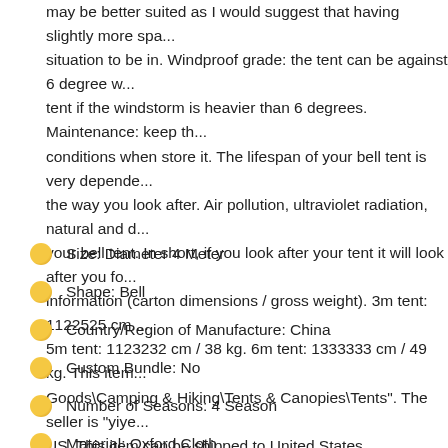may be better suited as I would suggest that having slightly more space is a better situation to be in. Windproof grade: the tent can be against 6 degree wind, don't use the tent if the windstorm is heavier than 6 degrees. Maintenance: keep the tent in dry conditions when store it. The lifespan of your bell tent is very dependent on the way you look after. Air pollution, ultraviolet radiation, natural and d... your bell tent. In short, if you look after your tent it will look after you fo... information (carton dimensions / gross weight). 3m tent: 1122525 cm... 5m tent: 1123232 cm / 38 kg. 6m tent: 1333333 cm / 49 kg. This item... Goods\Camping & Hiking\Tents & Canopies\Tents". The seller is "yiye..." and is located in US. This item can be shipped to United States.
Size: Diameter 4 Meter
Shape: Bell
Country/Region of Manufacture: China
Custom Bundle: No
Number of Seasons: 4 Season
Material: Oxford Cloth
Number of Windows: 4
Type: Yurt
Capacity: 6 Person
Features: Heavy Duty, Lantern Hook, Mosquito Net, Screen/Shade...